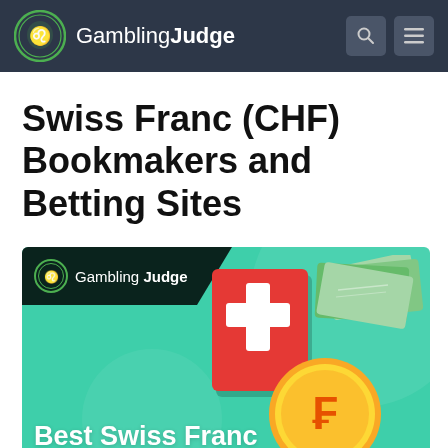Gambling Judge
Swiss Franc (CHF) Bookmakers and Betting Sites
[Figure (illustration): Promotional banner image with teal/green background showing Gambling Judge logo, a Swiss flag card (red with white cross), a gold franc coin with CHF symbol, and fanned paper currency notes. Text at bottom reads 'Best Swiss Franc'.]